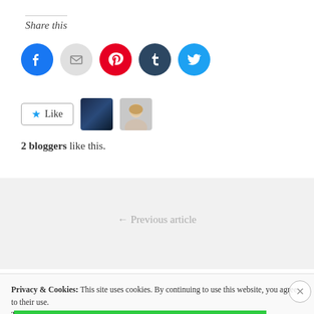Share this
[Figure (infographic): Five social sharing icon circles: Facebook (blue), Email (grey), Pinterest (red), Tumblr (dark blue), Twitter (light blue)]
[Figure (infographic): Like button with star icon and two blogger avatar thumbnails]
2 bloggers like this.
← Previous article
Privacy & Cookies: This site uses cookies. By continuing to use this website, you agree to their use.
To find out more, including how to control cookies, see here: Cookie Policy
Close and accept